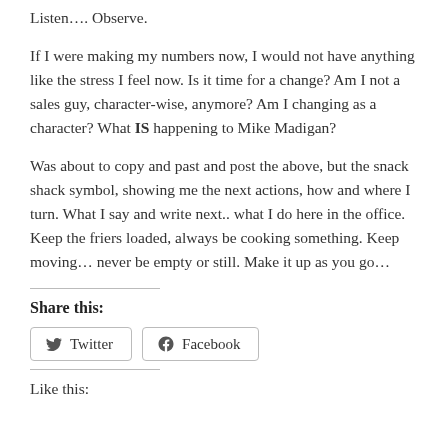Listen….  Observe.
If I were making my numbers now, I would not have anything like the stress I feel now.  Is it time for a change?  Am I not a sales guy, character-wise, anymore? Am I changing as a character?  What IS happening to Mike Madigan?
Was about to copy and past and post the above, but the snack shack symbol, showing me the next actions, how and where I turn.  What I say and write next.. what I do here in the office.  Keep the friers loaded, always be cooking something.  Keep moving… never be empty or still. Make it up as you go…
Share this:
[Figure (other): Twitter and Facebook share buttons]
Like this: